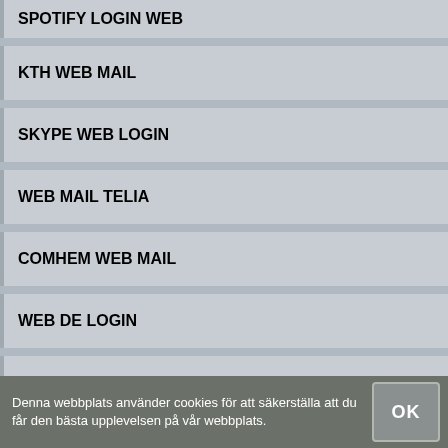SPOTIFY LOGIN WEB
KTH WEB MAIL
SKYPE WEB LOGIN
WEB MAIL TELIA
COMHEM WEB MAIL
WEB DE LOGIN
WEB TELIA MAIL
LOOPIA WEB MAIL
WEB DE LOGIN
Denna webbplats använder cookies för att säkerställa att du får den bästa upplevelsen på vår webbplats.